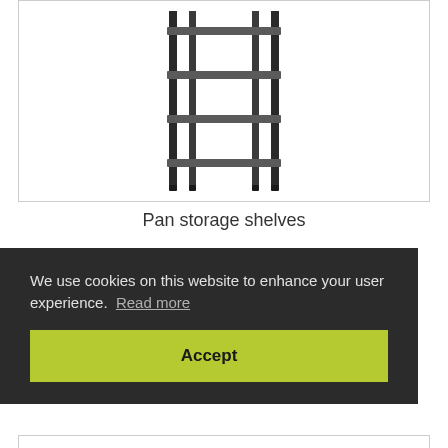[Figure (photo): A black metal pan storage shelf unit with 4 shelves and vertical frame supports, viewed slightly from an angle.]
Pan storage shelves
We use cookies on this website to enhance your user experience. Read more
Accept